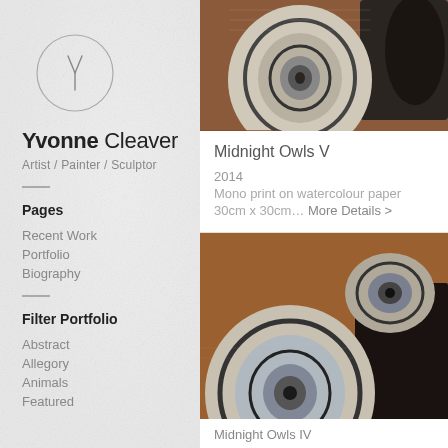[Figure (logo): Circular logo with stylized Y letter inside a thin circle, silver/grey tones]
Yvonne Cleaver
Artist / Painter / Sculptor
Pages
Recent Work
Portfolio
Biography
Filter Portfolio
Abstract
Allegory
Animals
Featured
[Figure (photo): Close-up abstract artwork showing swirling circular monoprint patterns in black, white and rust/brown tones on watercolour paper - top artwork]
Midnight Owls V
2014
Mono print on watercolour paper
30cm x 30cm… More Details >
[Figure (photo): Close-up abstract monoprint artwork showing two large circular swirling owl eye patterns in grey/blue and rust/brown tones - bottom artwork Midnight Owls IV]